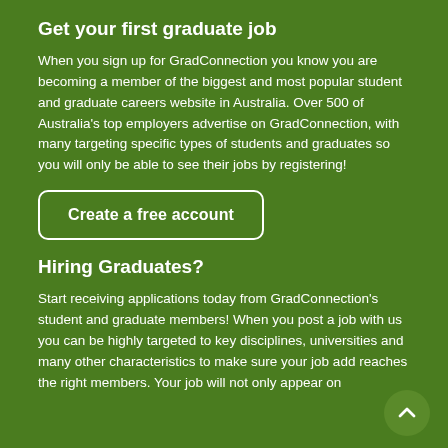Get your first graduate job
When you sign up for GradConnection you know you are becoming a member of the biggest and most popular student and graduate careers website in Australia. Over 500 of Australia's top employers advertise on GradConnection, with many targeting specific types of students and graduates so you will only be able to see their jobs by registering!
Create a free account
Hiring Graduates?
Start receiving applications today from GradConnection's student and graduate members! When you post a job with us you can be highly targeted to key disciplines, universities and many other characteristics to make sure your job add reaches the right members. Your job will not only appear on